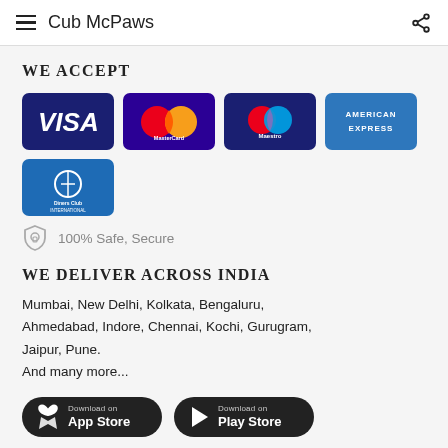Cub McPaws
WE ACCEPT
[Figure (other): Payment card logos: Visa, MasterCard, Maestro, American Express, Diners Club International]
100% Safe, Secure
WE DELIVER ACROSS INDIA
Mumbai, New Delhi, Kolkata, Bengaluru, Ahmedabad, Indore, Chennai, Kochi, Gurugram, Jaipur, Pune.
And many more...
[Figure (other): Download on the App Store button and Download on the Play Store button]